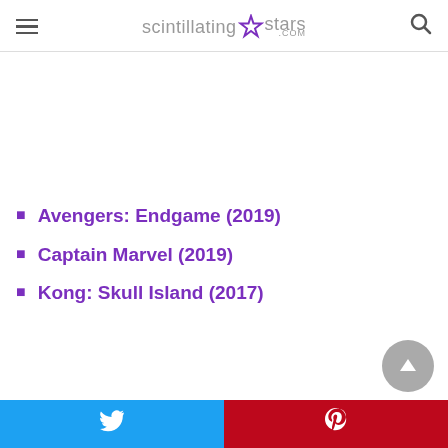scintillating★stars.com
Avengers: Endgame (2019)
Captain Marvel (2019)
Kong: Skull Island (2017)
Twitter share | Pinterest share